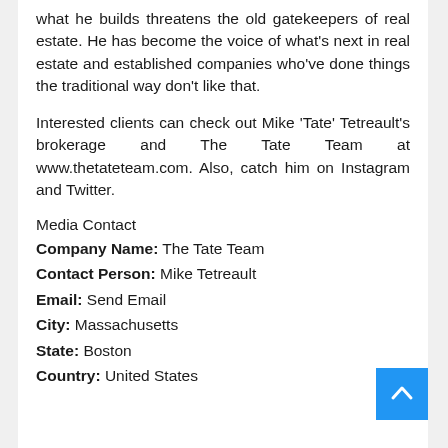what he builds threatens the old gatekeepers of real estate. He has become the voice of what's next in real estate and established companies who've done things the traditional way don't like that.
Interested clients can check out Mike 'Tate' Tetreault's brokerage and The Tate Team at www.thetateteam.com. Also, catch him on Instagram and Twitter.
Media Contact
Company Name: The Tate Team
Contact Person: Mike Tetreault
Email: Send Email
City: Massachusetts
State: Boston
Country: United States